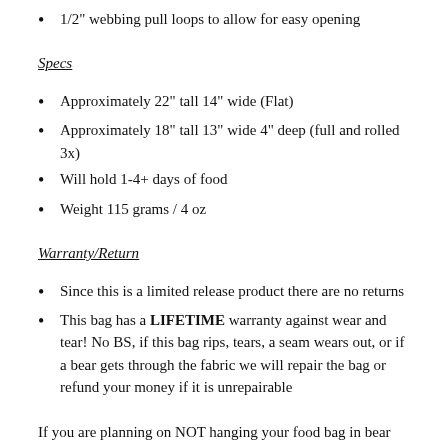1/2" webbing pull loops to allow for easy opening
Specs
Approximately 22" tall 14" wide (Flat)
Approximately 18" tall 13" wide 4" deep (full and rolled 3x)
Will hold 1-4+ days of food
Weight 115 grams / 4 oz
Warranty/Return
Since this is a limited release product there are no returns
This bag has a LIFETIME warranty against wear and tear! No BS, if this bag rips, tears, a seam wears out, or if a bear gets through the fabric we will repair the bag or refund your money if it is unrepairable
If you are planning on NOT hanging your food bag in bear